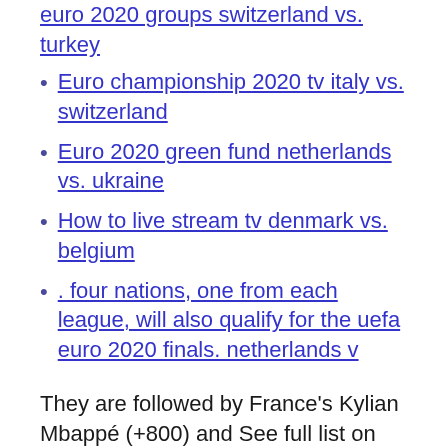euro 2020 groups switzerland vs. turkey
Euro championship 2020 tv italy vs. switzerland
Euro 2020 green fund netherlands vs. ukraine
How to live stream tv denmark vs. belgium
. four nations, one from each league, will also qualify for the uefa euro 2020 finals. netherlands v
They are followed by France's Kylian Mbappé (+800) and See full list on thescore.com Jun 11, 2021 · Belgium, whose qualifying campaign returned 10 wins out of 10 games, with 40 goals scored and just three conceded, should comfortably win Group B which also includes Denmark, Finland and Russia Jun 14, 2021 · 3 or more goals in each of Monday's UEFA Euro 2020 matches (3 matches) - Was 11/1 Now 14/1 BoyleSports - Bet £10 Get £20 (mobile only) UEFA + Euro 2020 to idle No 10